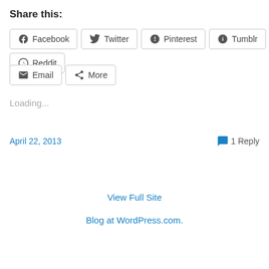Share this:
Facebook
Twitter
Pinterest
Tumblr
Reddit
Email
More
Loading...
April 22, 2013
1 Reply
View Full Site
Blog at WordPress.com.